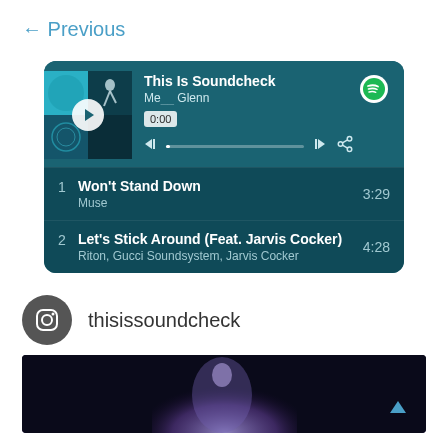← Previous
[Figure (screenshot): Spotify embed player showing 'This Is Soundcheck' playlist. Player top shows album art with play button, title 'This Is Soundcheck', subtitle 'Me... Glenn', time '0:00', playback controls. Track list: 1. Won't Stand Down - Muse - 3:29; 2. Let's Stick Around (Feat. Jarvis Cocker) - Riton, Gucci Soundsystem, Jarvis Cocker - 4:28]
[Figure (logo): Instagram icon (dark circle with camera icon outline)]
thisissoundcheck
[Figure (photo): Dark image of a person with light hair, bluish/purple tones]